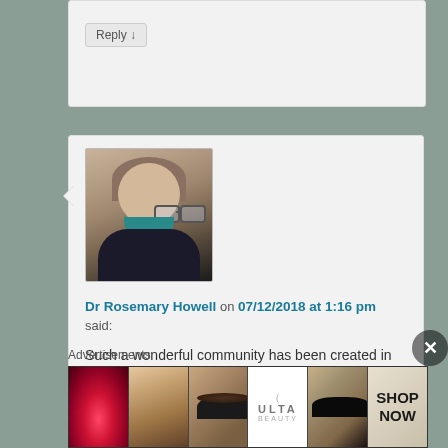Reply ↓
[Figure (photo): Headshot of Dr Rosemary Howell, a woman with short light brown hair and glasses, wearing a dark top with a teal collar]
Dr Rosemary Howell on 07/12/2018 at 1:16 pm said:
Such a wonderful community has been created in this space. An example of inclusion and collaboration that we can all be very proud of.
★ Like
Reply ↓
Advertisements
[Figure (photo): Ulta Beauty advertisement banner showing makeup imagery including lips, brush, eyes, Ulta logo, and 'SHOP NOW' text]